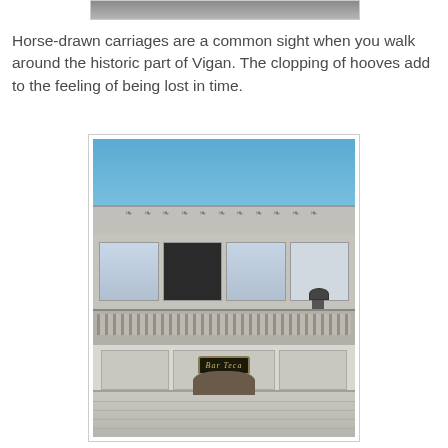[Figure (photo): Partial top of a photo showing what appears to be a horse or carriage, cropped at the very top of the page]
Horse-drawn carriages are a common sight when you walk around the historic part of Vigan. The clopping of hooves add to the feeling of being lost in time.
[Figure (photo): Photograph of a historic colonial building facade in Vigan, Philippines. The building shows ornate decorative frieze at the top, upper floor with wooden louvered windows including one open dark window, a balcony with decorative ironwork railing, a street lamp, lower floor panels, a sign reading 'Bar Teca' in gold italic lettering on a dark background, and a stone masonry base with a rounded arch doorway.]